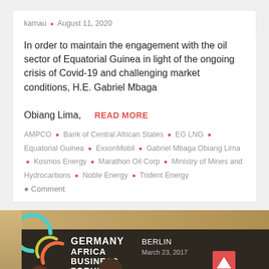kamau • August 11, 2020
In order to maintain the engagement with the oil sector of Equatorial Guinea in light of the ongoing crisis of Covid-19 and challenging market conditions, H.E. Gabriel Mbaga Obiang Lima, …
READ MORE
AMPCO • Bank of Central African States • EG LNG • Equatorial Guinea • ExxonMobil • Gabriel Mbaga Obiang Lima • Kosmos Energy • Marathon Oil Corp • Ministry of Mines and Hydrocarbons • Noble Energy • Trident Energy
• Comment
[Figure (photo): Photo showing a panel at the Germany Africa Business Forum, Berlin, March 23, 2017. Several people seated at a panel table visible in foreground, with the forum banner/logo in the background. An upward arrow button in red is visible on the right side. Old Energy logo/badge in the bottom right corner.]